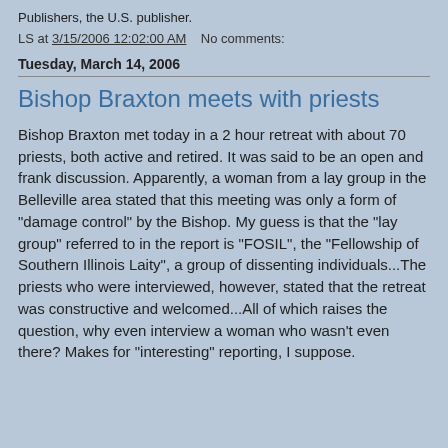Publishers, the U.S. publisher.
LS at 3/15/2006 12:02:00 AM   No comments:
Tuesday, March 14, 2006
Bishop Braxton meets with priests
Bishop Braxton met today in a 2 hour retreat with about 70 priests, both active and retired. It was said to be an open and frank discussion. Apparently, a woman from a lay group in the Belleville area stated that this meeting was only a form of "damage control" by the Bishop. My guess is that the "lay group" referred to in the report is "FOSIL", the "Fellowship of Southern Illinois Laity", a group of dissenting individuals...The priests who were interviewed, however, stated that the retreat was constructive and welcomed...All of which raises the question, why even interview a woman who wasn't even there? Makes for "interesting" reporting, I suppose.